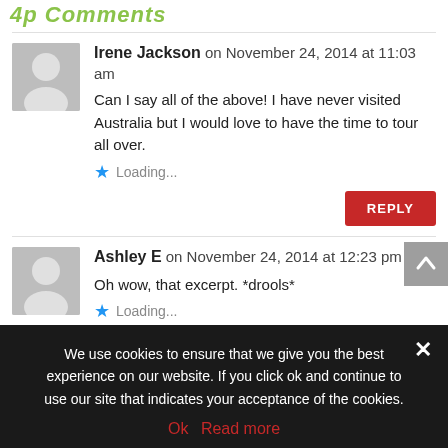4p Comments
Irene Jackson on November 24, 2014 at 11:03 am
Can I say all of the above! I have never visited Australia but I would love to have the time to tour all over.
Loading...
Ashley E on November 24, 2014 at 12:23 pm
Oh wow, that excerpt. *drools*
Loading...
We use cookies to ensure that we give you the best experience on our website. If you click ok and continue to use our site that indicates your acceptance of the cookies.
Ok  Read more